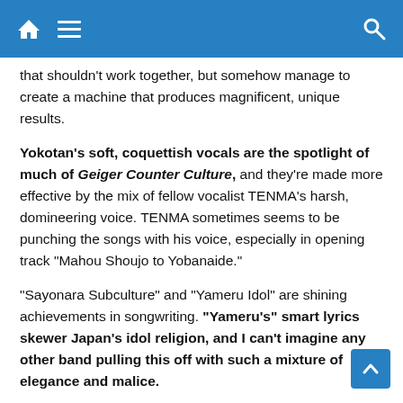[Navigation bar with home, menu, and search icons]
that shouldn't work together, but somehow manage to create a machine that produces magnificent, unique results.
Yokotan's soft, coquettish vocals are the spotlight of much of Geiger Counter Culture, and they're made more effective by the mix of fellow vocalist TENMA's harsh, domineering voice. TENMA sometimes seems to be punching the songs with his voice, especially in opening track "Mahou Shoujo to Yobanaide."
"Sayonara Subculture" and "Yameru Idol" are shining achievements in songwriting. "Yameru's" smart lyrics skewer Japan's idol religion, and I can't imagine any other band pulling this off with such a mixture of elegance and malice.
URBANGARDE's variety of music styles shows off their skill and flexibility. They could easily lay down some pop-by-numbers